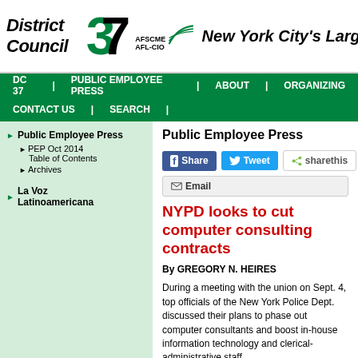[Figure (logo): District Council 37 AFSCME AFL-CIO logo with swoosh graphic and text 'New York City's Largest']
DC 37 | PUBLIC EMPLOYEE PRESS | ABOUT | ORGANIZING | CONTACT US | SEARCH
Public Employee Press
PEP Oct 2014 Table of Contents
Archives
La Voz Latinoamericana
Public Employee Press
[Figure (infographic): Social sharing buttons: Share (Facebook), Tweet (Twitter), sharethis, Email]
NYPD looks to cut computer consulting contracts
By GREGORY N. HEIRES
During a meeting with the union on Sept. 4, top officials of the New York Police Dept. discussed their plans to phase out computer consultants and boost in-house information technology and clerical-administrative staff.
The labor-management meeting dealt with workplace clerical staffing issues.
"We are encouraged by the tone of the new management team at the NYPD," said Robert Ajaye, president of Data Processing Personnel Local 2627,